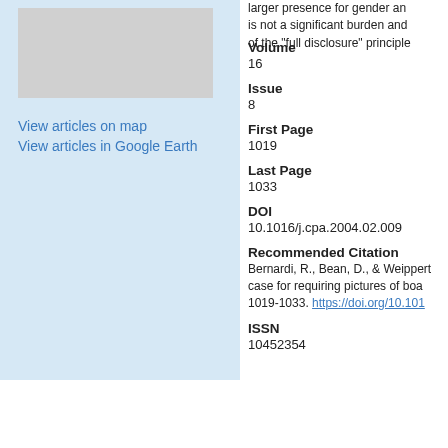[Figure (map): Map placeholder image showing geographic article locations]
View articles on map
View articles in Google Earth
larger presence for gender an... is not a significant burden and... of the "full disclosure" principle...
Volume
16
Issue
8
First Page
1019
Last Page
1033
DOI
10.1016/j.cpa.2004.02.009
Recommended Citation
Bernardi, R., Bean, D., & Weippert... case for requiring pictures of boa... 1019-1033. https://doi.org/10.101...
ISSN
10452354